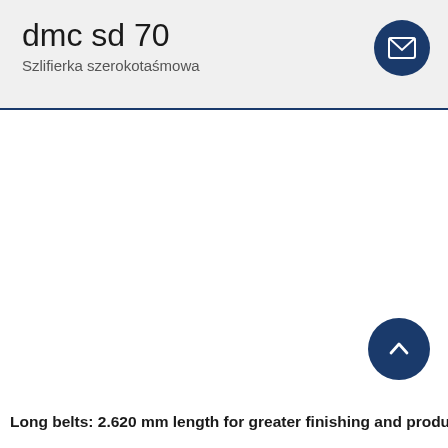dmc sd 70
Szlifierka szerokotaśmowa
[Figure (illustration): Dark navy blue circular button with white envelope/mail icon in top-right corner of header]
[Figure (illustration): Dark navy blue circular scroll-to-top button with white upward chevron arrow, positioned in lower-right area of page]
Long belts: 2.620 mm length for greater finishing and product